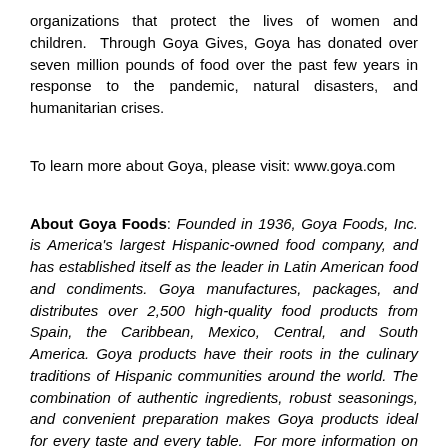organizations that protect the lives of women and children.  Through Goya Gives, Goya has donated over seven million pounds of food over the past few years in response to the pandemic, natural disasters, and humanitarian crises.
To learn more about Goya, please visit: www.goya.com
About Goya Foods: Founded in 1936, Goya Foods, Inc. is America's largest Hispanic-owned food company, and has established itself as the leader in Latin American food and condiments. Goya manufactures, packages, and distributes over 2,500 high-quality food products from Spain, the Caribbean, Mexico, Central, and South America. Goya products have their roots in the culinary traditions of Hispanic communities around the world. The combination of authentic ingredients, robust seasonings, and convenient preparation makes Goya products ideal for every taste and every table.  For more information on Goya Foods, please visit www.goya.com